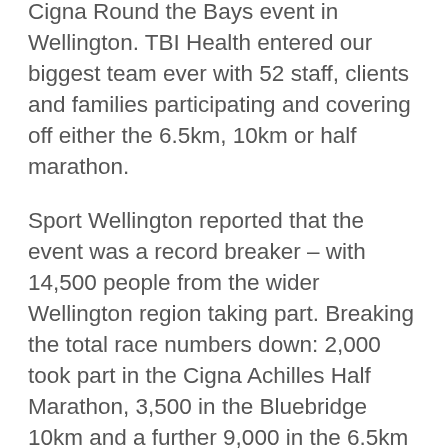Cigna Round the Bays event in Wellington. TBI Health entered our biggest team ever with 52 staff, clients and families participating and covering off either the 6.5km, 10km or half marathon.
Sport Wellington reported that the event was a record breaker – with 14,500 people from the wider Wellington region taking part. Breaking the total race numbers down: 2,000 took part in the Cigna Achilles Half Marathon, 3,500 in the Bluebridge 10km and a further 9,000 in the 6.5km fun run and Mitre 10 MEGA Buggy Walk.
A huge shout out to our supporters that were there to cheer us on and congratulations to